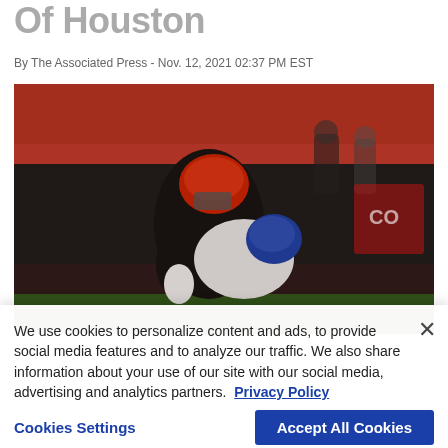Of Houston
By The Associated Press - Nov. 12, 2021 02:37 PM EST
[Figure (photo): Football players in a tackle/blocking play during a college football game. One player in a red helmet and black uniform tackles a player in a white uniform with blue accents. Crowd and coaching staff visible in the background.]
We use cookies to personalize content and ads, to provide social media features and to analyze our traffic. We also share information about your use of our site with our social media, advertising and analytics partners. Privacy Policy
Cookies Settings
Accept All Cookies